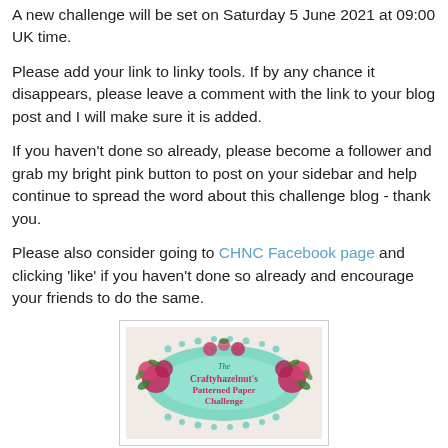A new challenge will be set on Saturday 5 June 2021 at 09:00 UK time.
Please add your link to linky tools. If by any chance it disappears, please leave a comment with the link to your blog post and I will make sure it is added.
If you haven't done so already, please become a follower and grab my bright pink button to post on your sidebar and help continue to spread the word about this challenge blog - thank you.
Please also consider going to CHNC Facebook page and clicking 'like' if you haven't done so already and encourage your friends to do the same.
[Figure (logo): Craftyhazelnut's Patterned Paper Challenge badge with mint lace frame and pink roses]